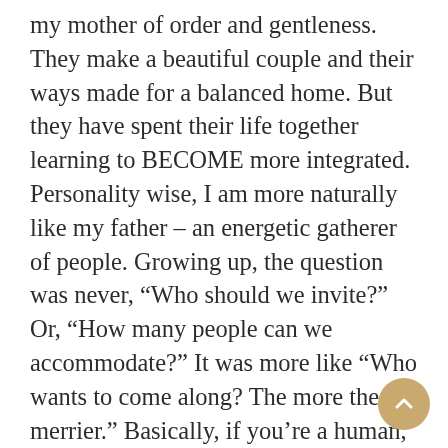my mother of order and gentleness. They make a beautiful couple and their ways made for a balanced home. But they have spent their life together learning to BECOME more integrated. Personality wise, I am more naturally like my father – an energetic gatherer of people. Growing up, the question was never, “Who should we invite?” Or, “How many people can we accommodate?” It was more like “Who wants to come along? The more the merrier.” Basically, if you’re a human, you belonged! Both mom and dad instilled a sense of the divine beauty written, by the hand of God, into the fabric of every human being, regardless of age, color, creed, status, talents, giftings,